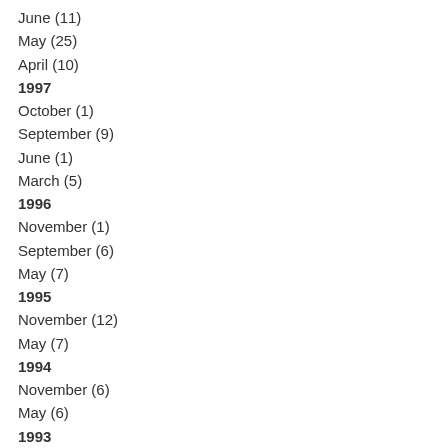June (11)
May (25)
April (10)
1997
October (1)
September (9)
June (1)
March (5)
1996
November (1)
September (6)
May (7)
1995
November (12)
May (7)
1994
November (6)
May (6)
1993
November (8)
May (8)
January (1)
1992
November (9)
September (7)
1991
November (17)
1990